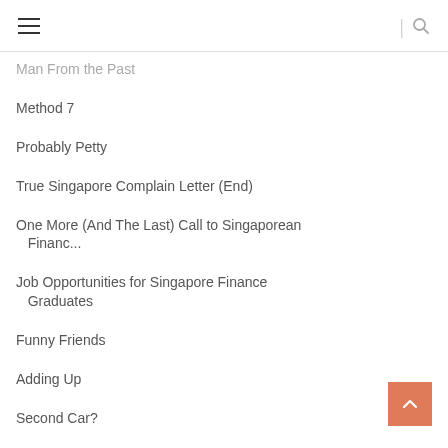navigation header with hamburger menu and search icon
Man From the Past
Method 7
Probably Petty
True Singapore Complain Letter (End)
One More (And The Last) Call to Singaporean Financ...
Job Opportunities for Singapore Finance Graduates
Funny Friends
Adding Up
Second Car?
True Singapore Complain Letter Part II
Beekeeping as a Hobby
In the End, Leaving Was Mandatory
Never Lose Sight of the Dream